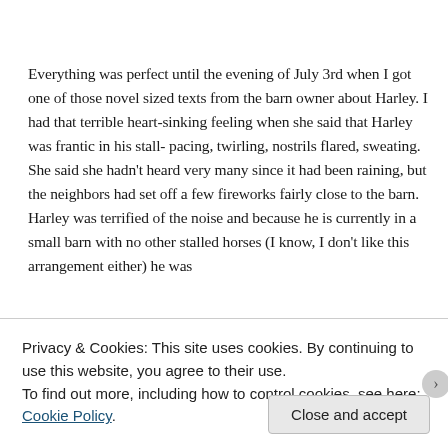Everything was perfect until the evening of July 3rd when I got one of those novel sized texts from the barn owner about Harley. I had that terrible heart-sinking feeling when she said that Harley was frantic in his stall- pacing, twirling, nostrils flared, sweating. She said she hadn't heard very many since it had been raining, but the neighbors had set off a few fireworks fairly close to the barn. Harley was terrified of the noise and because he is currently in a small barn with no other stalled horses (I know, I don't like this arrangement either) he was
Privacy & Cookies: This site uses cookies. By continuing to use this website, you agree to their use.
To find out more, including how to control cookies, see here: Cookie Policy